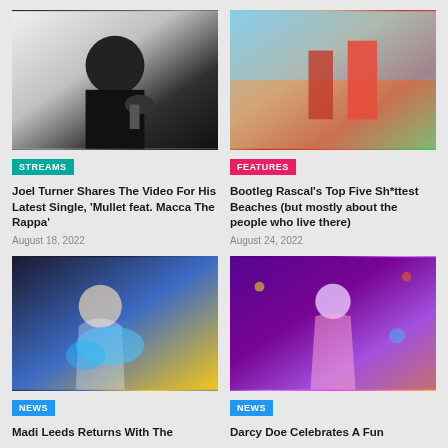[Figure (photo): Person in black hat holding microphone close to camera, white background]
[Figure (photo): Two people in red clothing on a beach, one shirtless, one in red robe]
STREAMS
FEATURES
Joel Turner Shares The Video For His Latest Single, 'Mullet feat. Macca The Rappa'
Bootleg Rascal's Top Five Sh*ttest Beaches (but mostly about the people who live there)
August 18, 2022
August 24, 2022
[Figure (photo): Blonde woman looking up with blue feathery costume, dark background with orange light]
[Figure (photo): Person in pink hoodie in colorful venue with purple lighting]
NEWS
NEWS
Madi Leeds Returns With The
Darcy Doe Celebrates A Fun